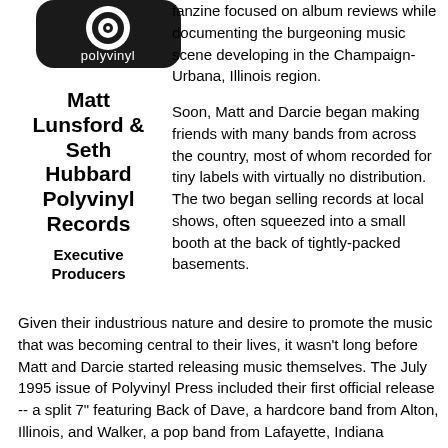[Figure (logo): Polyvinyl Records logo - black rounded rectangle with white vinyl record graphic and 'polyvinyl' text]
Matt Lunsford & Seth Hubbard Polyvinyl Records Executive Producers
fanzine focused on album reviews while documenting the burgeoning music scene developing in the Champaign-Urbana, Illinois region.
Soon, Matt and Darcie began making friends with many bands from across the country, most of whom recorded for tiny labels with virtually no distribution. The two began selling records at local shows, often squeezed into a small booth at the back of tightly-packed basements.
Given their industrious nature and desire to promote the music that was becoming central to their lives, it wasn't long before Matt and Darcie started releasing music themselves. The July 1995 issue of Polyvinyl Press included their first official release -- a split 7" featuring Back of Dave, a hardcore band from Alton, Illinois, and Walker, a pop band from Lafayette, Indiana